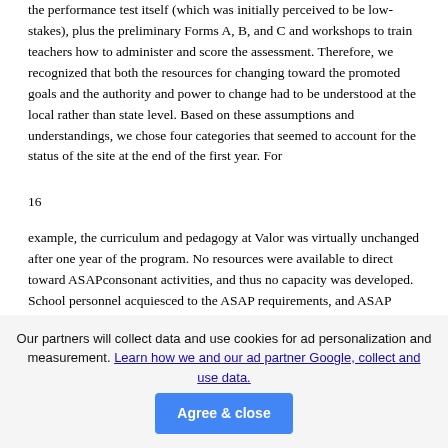the performance test itself (which was initially perceived to be low-stakes), plus the preliminary Forms A, B, and C and workshops to train teachers how to administer and score the assessment. Therefore, we recognized that both the resources for changing toward the promoted goals and the authority and power to change had to be understood at the local rather than state level. Based on these assumptions and understandings, we chose four categories that seemed to account for the status of the site at the end of the first year. For
16
example, the curriculum and pedagogy at Valor was virtually unchanged after one year of the program. No resources were available to direct toward ASAPconsonant activities, and thus no capacity was developed. School personnel acquiesced to the ASAP requirements, and ASAP merely added to the accountability load. Some resistance was evident in the departure of one of the constructivist teachers who experienced this burden. The status of change can be
Our partners will collect data and use cookies for ad personalization and measurement. Learn how we and our ad partner Google, collect and use data. Agree & close